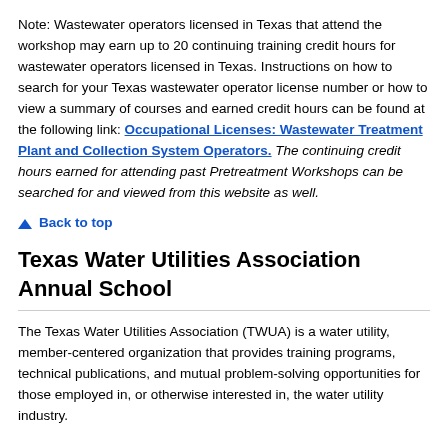Note: Wastewater operators licensed in Texas that attend the workshop may earn up to 20 continuing training credit hours for wastewater operators licensed in Texas. Instructions on how to search for your Texas wastewater operator license number or how to view a summary of courses and earned credit hours can be found at the following link: Occupational Licenses: Wastewater Treatment Plant and Collection System Operators. The continuing credit hours earned for attending past Pretreatment Workshops can be searched for and viewed from this website as well.
▲ Back to top
Texas Water Utilities Association Annual School
The Texas Water Utilities Association (TWUA) is a water utility, member-centered organization that provides training programs, technical publications, and mutual problem-solving opportunities for those employed in, or otherwise interested in, the water utility industry.